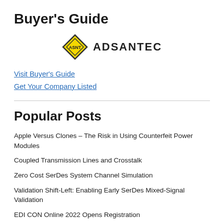Buyer's Guide
[Figure (logo): ADSANTEC company logo with a yellow diamond-shaped ASNT emblem and the text ADSANTEC in bold capital letters]
Visit Buyer's Guide
Get Your Company Listed
Popular Posts
Apple Versus Clones – The Risk in Using Counterfeit Power Modules
Coupled Transmission Lines and Crosstalk
Zero Cost SerDes System Channel Simulation
Validation Shift-Left: Enabling Early SerDes Mixed-Signal Validation
EDI CON Online 2022 Opens Registration